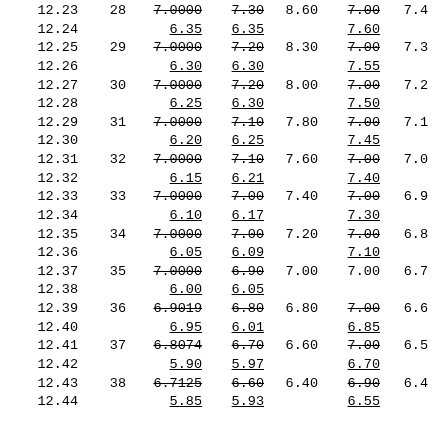| 12.23 | 28 | 7.0000 | 7.30 | 8.60 | 7.00 | 7.4 |
| 12.24 |  | 6.35 | 6.35 |  | 7.60 |  |
| 12.25 | 29 | 7.0000 | 7.20 | 8.30 | 7.00 | 7.3 |
| 12.26 |  | 6.30 | 6.30 |  | 7.55 |  |
| 12.27 | 30 | 7.0000 | 7.20 | 8.00 | 7.00 | 7.2 |
| 12.28 |  | 6.25 | 6.30 |  | 7.50 |  |
| 12.29 | 31 | 7.0000 | 7.10 | 7.80 | 7.00 | 7.1 |
| 12.30 |  | 6.20 | 6.25 |  | 7.45 |  |
| 12.31 | 32 | 7.0000 | 7.10 | 7.60 | 7.00 | 7.0 |
| 12.32 |  | 6.15 | 6.21 |  | 7.40 |  |
| 12.33 | 33 | 7.0000 | 7.00 | 7.40 | 7.00 | 6.9 |
| 12.34 |  | 6.10 | 6.17 |  | 7.30 |  |
| 12.35 | 34 | 7.0000 | 7.00 | 7.20 | 7.00 | 6.8 |
| 12.36 |  | 6.05 | 6.09 |  | 7.10 |  |
| 12.37 | 35 | 7.0000 | 6.90 | 7.00 | 7.00 | 6.7 |
| 12.38 |  | 6.00 | 6.05 |  |  |  |
| 12.39 | 36 | 6.9019 | 6.80 | 6.80 | 7.00 | 6.6 |
| 12.40 |  | 6.95 | 6.01 |  | 6.85 |  |
| 12.41 | 37 | 6.8074 | 6.70 | 6.60 | 7.00 | 6.5 |
| 12.42 |  | 5.90 | 5.97 |  | 6.70 |  |
| 12.43 | 38 | 6.7125 | 6.60 | 6.40 | 6.90 | 6.4 |
| 12.44 |  | 5.85 | 5.93 |  | 6.55 |  |